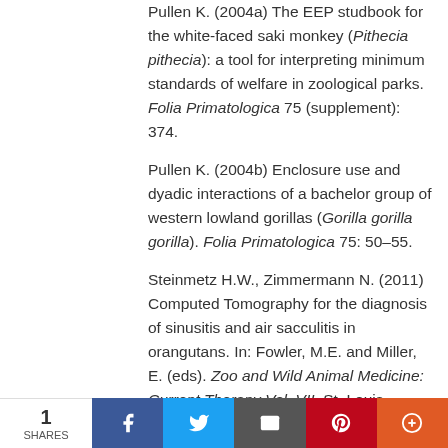Pullen K. (2004a) The EEP studbook for the white-faced saki monkey (Pithecia pithecia): a tool for interpreting minimum standards of welfare in zoological parks. Folia Primatologica 75 (supplement): 374.
Pullen K. (2004b) Enclosure use and dyadic interactions of a bachelor group of western lowland gorillas (Gorilla gorilla gorilla). Folia Primatologica 75: 50–55.
Steinmetz H.W., Zimmermann N. (2011) Computed Tomography for the diagnosis of sinusitis and air sacculitis in orangutans. In: Fowler, M.E. and Miller, E. (eds). Zoo and Wild Animal Medicine: Current Therapy Vol. VII. St. Louis, Missouri: Elsevier Saunders, 422–430.
Zimmermann A., Hatchwell M., Dickie L., West C.D. (eds) (2007) Zoos in the 21st Century:
1 SHARES